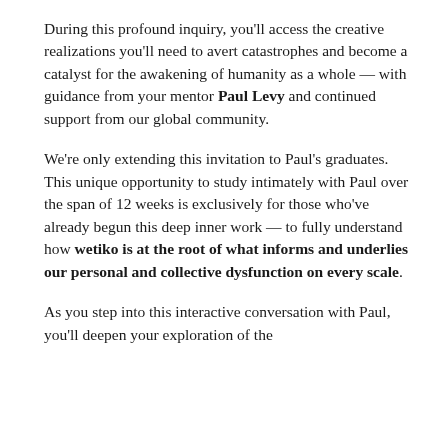During this profound inquiry, you'll access the creative realizations you'll need to avert catastrophes and become a catalyst for the awakening of humanity as a whole — with guidance from your mentor Paul Levy and continued support from our global community.
We're only extending this invitation to Paul's graduates. This unique opportunity to study intimately with Paul over the span of 12 weeks is exclusively for those who've already begun this deep inner work — to fully understand how wetiko is at the root of what informs and underlies our personal and collective dysfunction on every scale.
As you step into this interactive conversation with Paul, you'll deepen your exploration of the